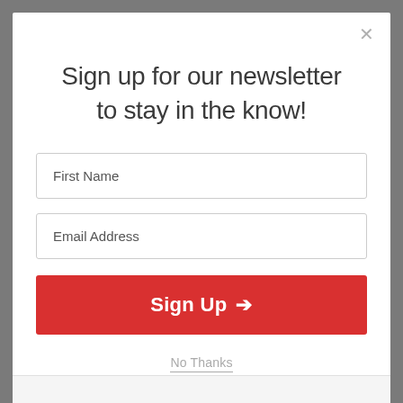Sign up for our newsletter to stay in the know!
First Name
Email Address
Sign Up →
No Thanks